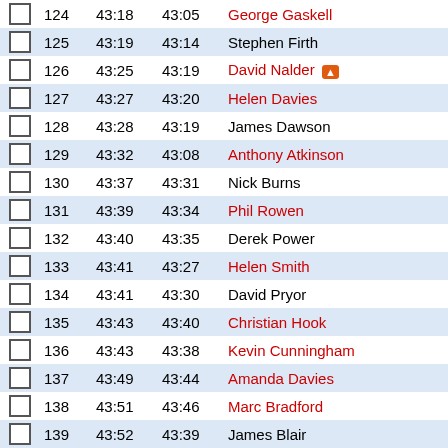|  | Pos | Time | Chip | Name | PB | Cat |
| --- | --- | --- | --- | --- | --- | --- |
|  | 124 | 43:18 | 43:05 | George Gaskell |  | SE |
|  | 125 | 43:19 | 43:14 | Stephen Firth |  | V40 |
|  | 126 | 43:25 | 43:19 | David Nalder 🔥 |  | V60 |
|  | 127 | 43:27 | 43:20 | Helen Davies |  | SE |
|  | 128 | 43:28 | 43:19 | James Dawson |  | V50 |
|  | 129 | 43:32 | 43:08 | Anthony Atkinson | PB | V45 |
|  | 130 | 43:37 | 43:31 | Nick Burns |  | V50 |
|  | 131 | 43:39 | 43:34 | Phil Rowen |  | V40 |
|  | 132 | 43:40 | 43:35 | Derek Power |  | V55 |
|  | 133 | 43:41 | 43:27 | Helen Smith |  | V45 |
|  | 134 | 43:41 | 43:30 | David Pryor |  | SE |
|  | 135 | 43:43 | 43:40 | Christian Hook |  | V40 |
|  | 136 | 43:43 | 43:38 | Kevin Cunningham |  | SE |
|  | 137 | 43:49 | 43:44 | Amanda Davies |  | SE |
|  | 138 | 43:51 | 43:46 | Marc Bradford |  | V35 |
|  | 139 | 43:52 | 43:39 | James Blair |  | V45 |
|  | 140 | 43:52 | 43:45 | Ian Williams |  | V45 |
|  | 141 | 43:55 | 43:48 | Number 440 |  | SE |
|  | 142 | 43:56 | 43:47 | Russ Platt 🔥 |  | V45 |
|  | 143 | 43:56 | 43:51 | Graham Harrison |  | V60 |